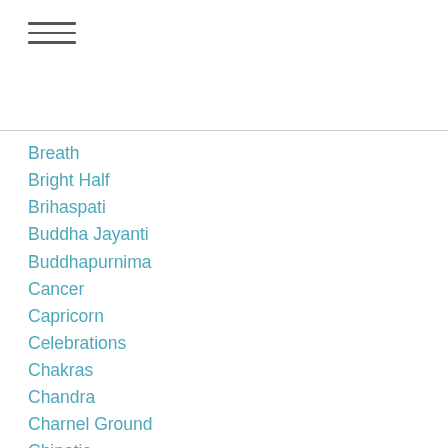[Figure (other): Hamburger menu icon with three horizontal lines]
Breath
Bright Half
Brihaspati
Buddha Jayanti
Buddhapurnima
Cancer
Capricorn
Celebrations
Chakras
Chandra
Charnel Ground
Chipatis
Chitra
Clients
Combustion
Conflict
Cosmic-and-creative-self